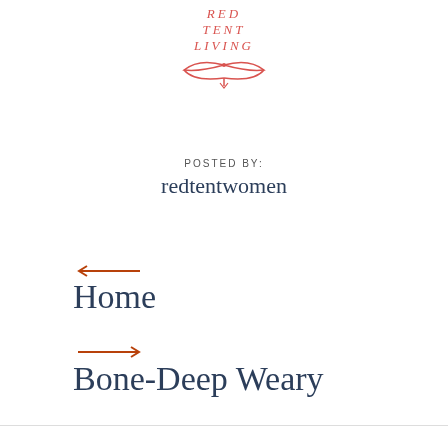[Figure (logo): Red Tent Living logo with stylized text RED TENT LIVING in red italic lettering above a decorative open book / wing emblem in red]
POSTED BY:
redtentwomen
← Home
→ Bone-Deep Weary